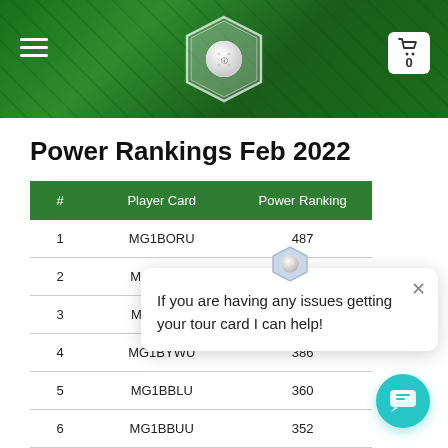Golf Power Rankings – site header with logo and cart
Power Rankings Feb 2022
| # | Player Card | Power Ranking |
| --- | --- | --- |
| 1 | MG1BORU | 487 |
| 2 | MG1BGNJ | 461 |
| 3 | MG1BBLS | 434 |
| 4 | MG1BYWU | 386 |
| 5 | MG1BBLU | 360 |
| 6 | MG1BBUU | 352 |
| 7 | MG1BBKJ | 344 |
| 8 | MG1BYWJ | 342 |
| 9 | MG1BPPS | 322 |
If you are having any issues getting your tour card I can help!